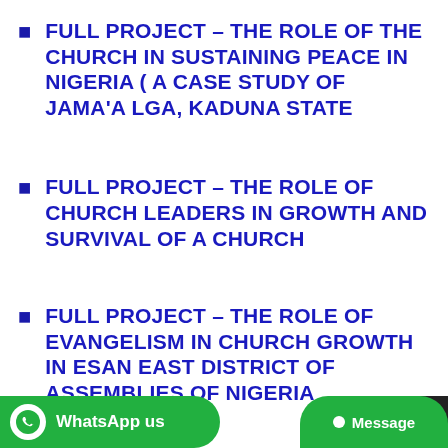FULL PROJECT – THE ROLE OF THE CHURCH IN SUSTAINING PEACE IN NIGERIA ( A CASE STUDY OF JAMA'A LGA, KADUNA STATE
FULL PROJECT – THE ROLE OF CHURCH LEADERS IN GROWTH AND SURVIVAL OF A CHURCH
FULL PROJECT – THE ROLE OF EVANGELISM IN CHURCH GROWTH IN ESAN EAST DISTRICT OF ASSEMBLIES OF [NIG]ERIA